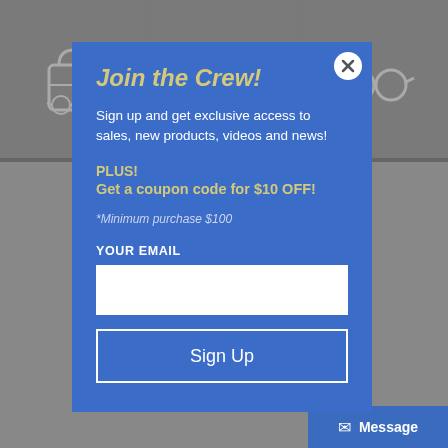[Figure (screenshot): Background of a retail/outdoor gear website with gray tiled product image panels showing bags and sunglasses outlines, and a city/Florida graphic at the bottom]
Join the Crew!
Sign up and get exclusive access to sales, new products, videos and news!
PLUS!
Get a coupon code for $10 OFF!
*Minimum purchase $100
YOUR EMAIL
Sign Up
Message